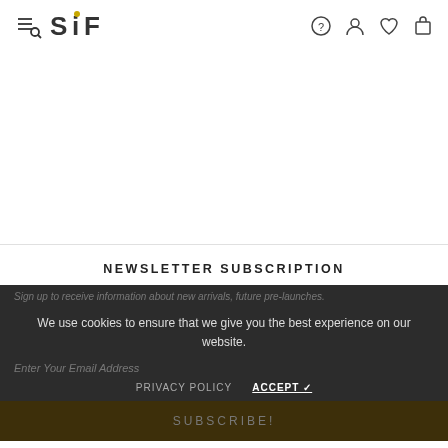SF logo with hamburger/search menu and icons: help, user, wishlist, cart
NEWSLETTER SUBSCRIPTION
Sign up to receive information about new arrivals, future pre-launches.
We use cookies to ensure that we give you the best experience on our website.
Enter Your Email Address
PRIVACY POLICY   ACCEPT ✓
SUBSCRIBE!